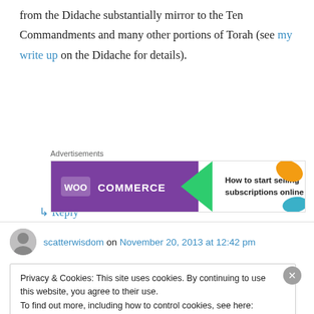from the Didache substantially mirror to the Ten Commandments and many other portions of Torah (see my write up on the Didache for details).
↳ Reply
Advertisements
[Figure (screenshot): WooCommerce advertisement banner: 'How to start selling subscriptions online']
scatterwisdom on November 20, 2013 at 12:42 pm
Privacy & Cookies: This site uses cookies. By continuing to use this website, you agree to their use.
To find out more, including how to control cookies, see here: Cookie Policy
Close and accept